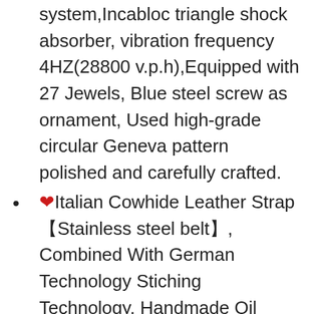system,Incabloc triangle shock absorber, vibration frequency 4HZ(28800 v.p.h),Equipped with 27 Jewels, Blue steel screw as ornament, Used high-grade circular Geneva pattern polished and carefully crafted.
❤Italian Cowhide Leather Strap 【Stainless steel belt】, Combined With German Technology Stiching Technology, Handmade Oil Edge, It's soft, comfortable and durable.easy to adjust length from 170mm to 210mm(6.6inch to 8.2inch), easy use and safe. Single Folding Clasp Buckle🔒 Experience A Comfortable Wearing Experience With You.What's more, you can enjoy free 2-year warranty.
❤316L Stainless Steel Case🔒In The